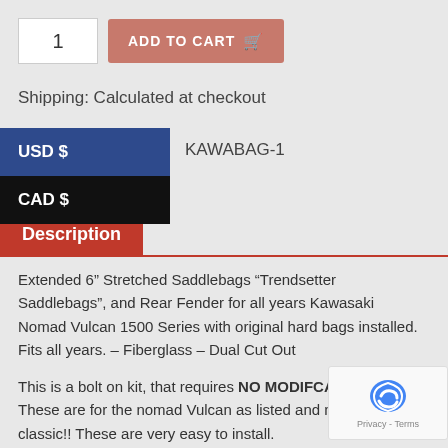[Figure (screenshot): Quantity input box showing '1' and an Add to Cart button with shopping cart icon]
Shipping: Calculated at checkout
[Figure (screenshot): Currency dropdown showing USD $ (highlighted in blue) and CAD $ options]
KAWABAG-1
Description
Extended 6” Stretched Saddlebags “Trendsetter Saddlebags”, and Rear Fender for all years Kawasaki Nomad Vulcan 1500 Series with original hard bags installed. Fits all years. – Fiberglass – Dual Cut Out
This is a bolt on kit, that requires NO MODIFCATIONS!!! These are for the nomad Vulcan as listed and not for the classic!! These are very easy to install.
Please note: trimming, cutting, filler, sanding will be necessary to ge… mocked up – you will also need spacers and washers that are not pr… This kit is made for DIY with experience in body work. Please see pics for…